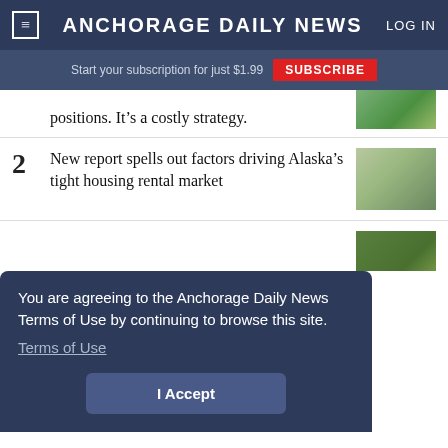ANCHORAGE DAILY NEWS
Start your subscription for just $1.99  SUBSCRIBE
positions. It’s a costly strategy.
2  New report spells out factors driving Alaska’s tight housing rental market
You are agreeing to the Anchorage Daily News Terms of Use by continuing to browse this site.
Terms of Use
I Accept